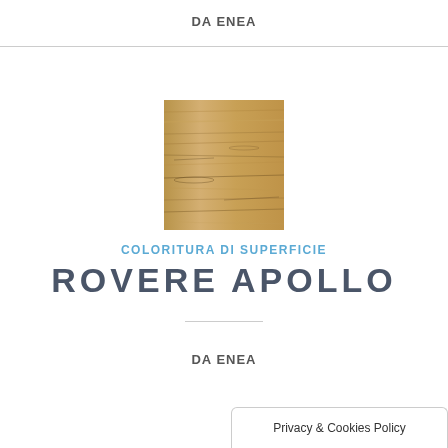DA ENEA
[Figure (photo): Wood texture swatch showing Rovere Apollo surface finish — light oak grain with natural brown and beige tones]
COLORITURA DI SUPERFICIE
ROVERE APOLLO
DA ENEA
Privacy & Cookies Policy